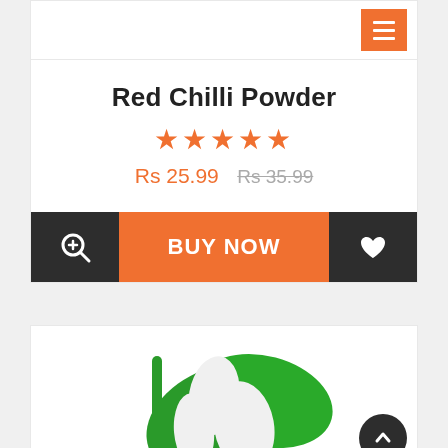Red Chilli Powder
★★★★★
Rs 25.99  Rs 35.99
BUY NOW
[Figure (logo): Green plant/logo illustration at the bottom of the page]